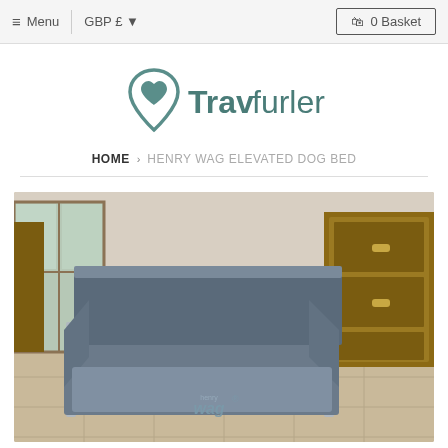Menu | GBP £ ▼  |  0 Basket
[Figure (logo): Travfurler logo with heart/paw pin icon and brand name]
HOME › HENRY WAG ELEVATED DOG BED
[Figure (photo): Henry Wag elevated dog bed with grey fabric and silver metal legs, shown indoors on a tiled floor in front of wooden furniture and a window]